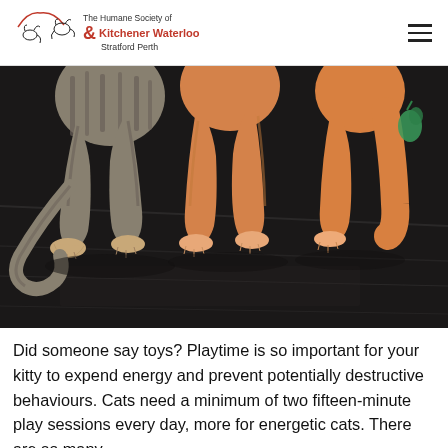The Humane Society of Kitchener Waterloo & Stratford Perth
[Figure (photo): Close-up photo of the lower bodies and paws of two cats (one tabby, one orange) standing on a dark wood floor, shot from behind, with a green toy visible in the background.]
Did someone say toys? Playtime is so important for your kitty to expend energy and prevent potentially destructive behaviours. Cats need a minimum of two fifteen-minute play sessions every day, more for energetic cats. There are so many types of toys available, and your feline friend will